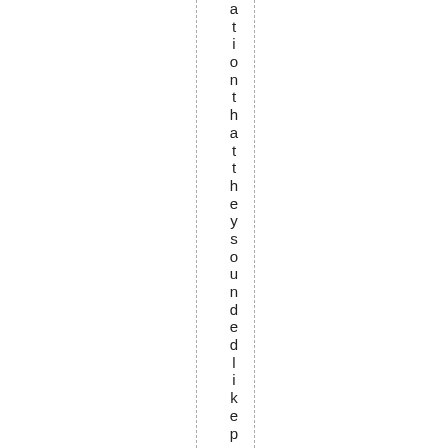ationthattheysoundedlikepolyphony (partial, vertical)